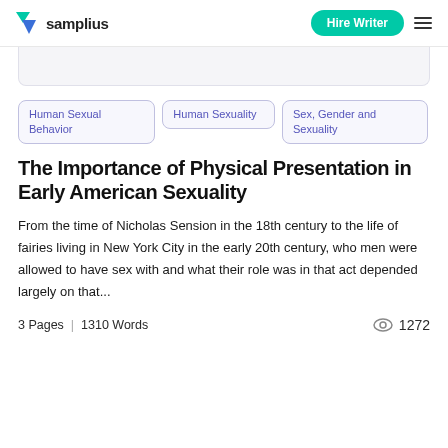samplius | Hire Writer
Human Sexual Behavior
Human Sexuality
Sex, Gender and Sexuality
The Importance of Physical Presentation in Early American Sexuality
From the time of Nicholas Sension in the 18th century to the life of fairies living in New York City in the early 20th century, who men were allowed to have sex with and what their role was in that act depended largely on that...
3 Pages  |  1310 Words   1272